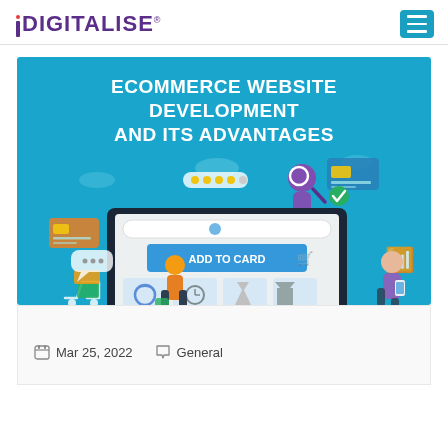iDIGITALISE
[Figure (illustration): eCommerce website development banner with blue background showing a laptop with shopping interface, 'ADD TO CARD' button, shopping figures, products grid, and text: ECOMMERCE WEBSITE DEVELOPMENT AND ITS ADVANTAGES]
Mar 25, 2022   General